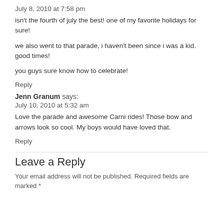July 8, 2010 at 7:58 pm
isn't the fourth of july the best! one of my favorite holidays for sure!
we also went to that parade, i haven't been since i was a kid. good times!
you guys sure know how to celebrate!
Reply
Jenn Granum says:
July 10, 2010 at 5:32 am
Love the parade and awesome Carni rides! Those bow and arrows look so cool. My boys would have loved that.
Reply
Leave a Reply
Your email address will not be published. Required fields are marked *